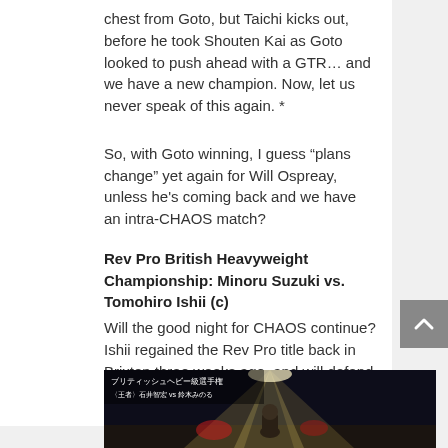chest from Goto, but Taichi kicks out, before he took Shouten Kai as Goto looked to push ahead with a GTR… and we have a new champion. Now, let us never speak of this again. *
So, with Goto winning, I guess “plans change” yet again for Will Ospreay, unless he's coming back and we have an intra-CHAOS match?
Rev Pro British Heavyweight Championship: Minoru Suzuki vs. Tomohiro Ishii (c)
Will the good night for CHAOS continue? Ishii regained the Rev Pro title back in Brixton three weeks ago, and will defend against David Starr next Friday in York Hall… if he gets past this.
[Figure (photo): Dark wrestling arena shot showing a performer from behind with dramatic spotlight beams, Japanese text overlay reading British Heavyweight Championship match details]